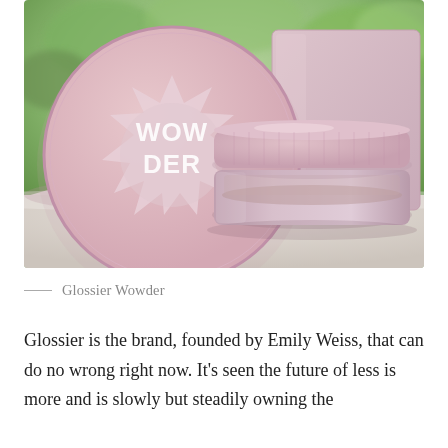[Figure (photo): Product photo of Glossier Wowder loose powder compact. Shows a round pink lid with 'WOWDER' text in star-burst comic design on the left, a clear jar with pink lid containing loose powder in the center-right, and a pink box in the background, all set on a light surface with green blurred foliage background.]
Glossier Wowder
Glossier is the brand, founded by Emily Weiss, that can do no wrong right now. It’s seen the future of less is more and is slowly but steadily owning the